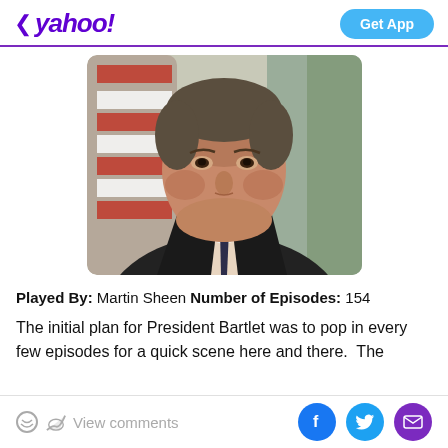< yahoo! | Get App
[Figure (photo): Portrait photo of Martin Sheen as President Bartlet, wearing a dark suit and striped tie, with an American flag in the background]
Played By: Martin Sheen Number of Episodes: 154
The initial plan for President Bartlet was to pop in every few episodes for a quick scene here and there. The
View comments | Facebook | Twitter | Mail